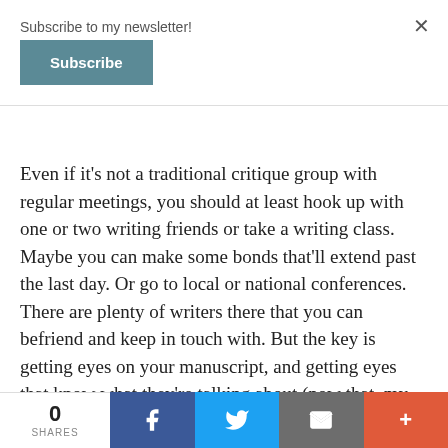Subscribe to my newsletter!
Subscribe
Even if it's not a traditional critique group with regular meetings, you should at least hook up with one or two writing friends or take a writing class. Maybe you can make some bonds that'll extend past the last day. Or go to local or national conferences. There are plenty of writers there that you can befriend and keep in touch with. But the key is getting eyes on your manuscript, and getting eyes that know what they're talking about (now that, my friends, is a mixed metaphor). Teach yourself to hear their wisdom but take it with a
0 SHARES | Facebook | Twitter | Email | More